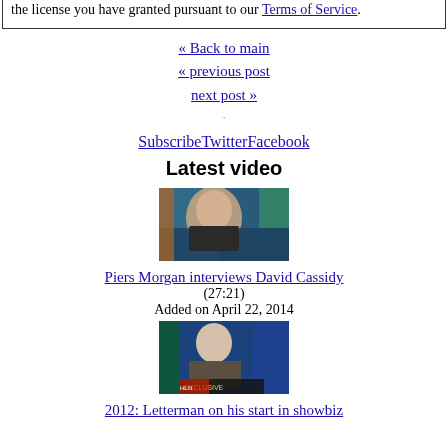the license you have granted pursuant to our Terms of Service.
« Back to main
« previous post
next post »
SubscribeTwitterFacebook
Latest video
[Figure (photo): Thumbnail of Piers Morgan interviews David Cassidy video]
Piers Morgan interviews David Cassidy (27:21)
Added on April 22, 2014
[Figure (photo): Thumbnail of 2012: Letterman on his start in showbiz video]
2012: Letterman on his start in showbiz (1:47)